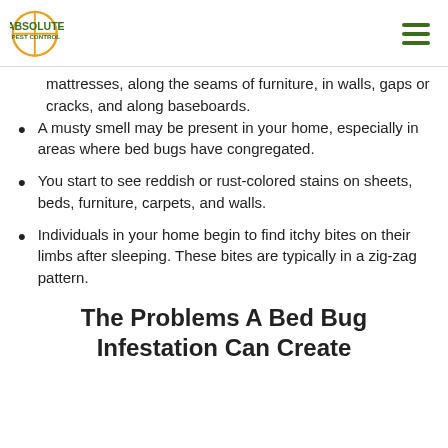Absolute Pest Control
mattresses, along the seams of furniture, in walls, gaps or cracks, and along baseboards.
A musty smell may be present in your home, especially in areas where bed bugs have congregated.
You start to see reddish or rust-colored stains on sheets, beds, furniture, carpets, and walls.
Individuals in your home begin to find itchy bites on their limbs after sleeping. These bites are typically in a zig-zag pattern.
The Problems A Bed Bug Infestation Can Create